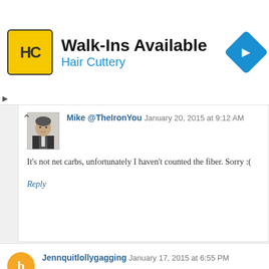[Figure (screenshot): Hair Cuttery advertisement banner with yellow logo, Walk-Ins Available text, and blue arrow navigation icon]
Mike @TheIronYou January 20, 2015 at 9:12 AM
It's not net carbs, unfortunately I haven't counted the fiber. Sorry :(
Reply
Jennquitlollygagging January 17, 2015 at 6:55 PM
So amazing! I just made this, I like it better than regular grilled cheese. So filling too, couldn't even finish one